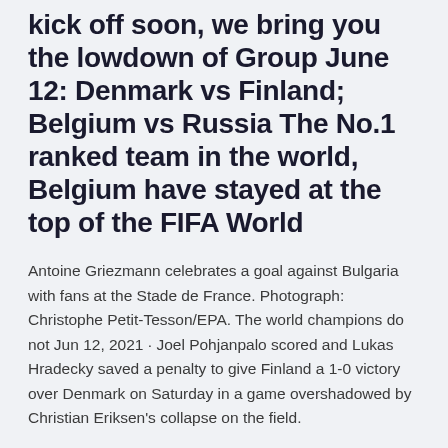kick off soon, we bring you the lowdown of Group June 12: Denmark vs Finland; Belgium vs Russia The No.1 ranked team in the world, Belgium have stayed at the top of the FIFA World
Antoine Griezmann celebrates a goal against Bulgaria with fans at the Stade de France. Photograph: Christophe Petit-Tesson/EPA. The world champions do not Jun 12, 2021 · Joel Pohjanpalo scored and Lukas Hradecky saved a penalty to give Finland a 1-0 victory over Denmark on Saturday in a game overshadowed by Christian Eriksen's collapse on the field.
Nov 12, 2020 · There will be 24 nations at